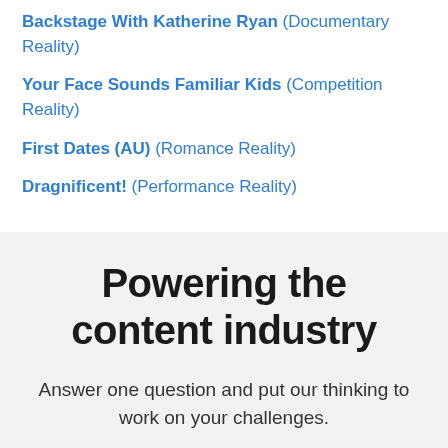Backstage With Katherine Ryan (Documentary Reality)
Your Face Sounds Familiar Kids (Competition Reality)
First Dates (AU) (Romance Reality)
Dragnificent! (Performance Reality)
Powering the content industry
Answer one question and put our thinking to work on your challenges.
What are your top challenges?